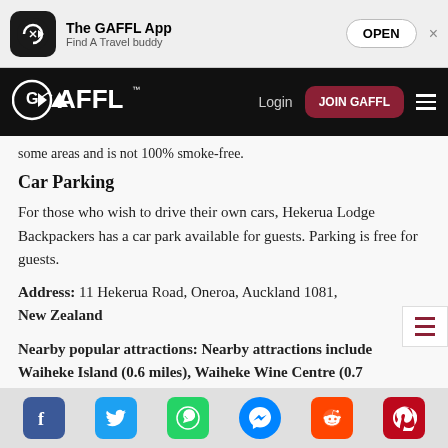[Figure (screenshot): App store banner for The GAFFL App with icon, name, tagline 'Find A Travel buddy', OPEN button, and close X]
[Figure (screenshot): GAFFL website navigation bar with logo, Login link, JOIN GAFFL button, and hamburger menu on dark background]
some areas and is not 100% smoke-free.
Car Parking
For those who wish to drive their own cars, Hekerua Lodge Backpackers has a car park available for guests. Parking is free for guests.
Address: 11 Hekerua Road, Oneroa, Auckland 1081, New Zealand
Nearby popular attractions: Nearby attractions include Waiheke Island (0.6 miles), Waiheke Wine Centre (0.7
[Figure (screenshot): Social share bar with Facebook, Twitter, WhatsApp, Messenger, Reddit, and Pinterest icons]